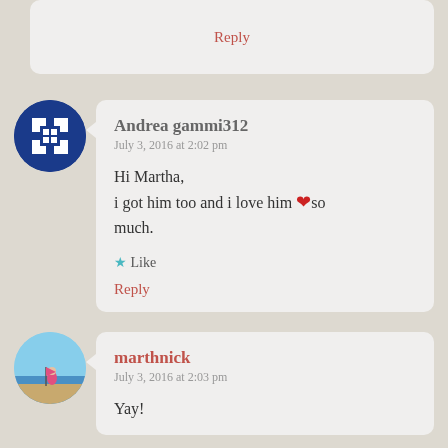Reply
Andrea gammi312
July 3, 2016 at 2:02 pm

Hi Martha,
i got him too and i love him ❤so much.

★ Like

Reply
marthnick
July 3, 2016 at 2:03 pm

Yay!